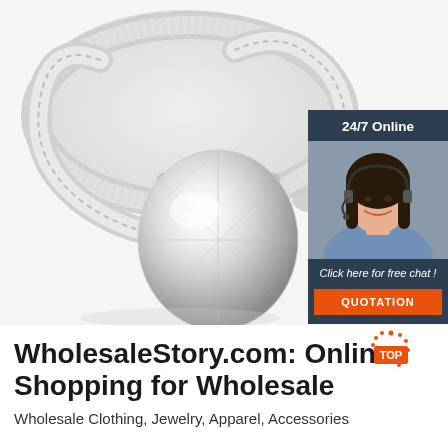[Figure (photo): Close-up photo of a diamond engagement ring with an oval-cut solitaire diamond and pavé-set diamond band on a white background, alongside a customer service chat widget showing a smiling woman with headset, labeled '24/7 Online', 'Click here for free chat!', and an orange 'QUOTATION' button.]
WholesaleStory.com: Online Shopping for Wholesale
Wholesale Clothing, Jewelry, Apparel, Accessories